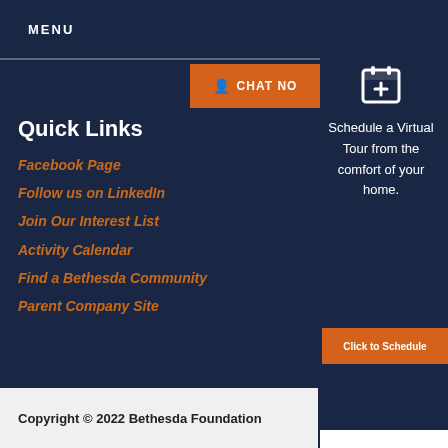MENU
CHAT NO
Quick Links
Facebook Page
Follow us on LinkedIn
Join Our Interest List
Activity Calendar
Find a Bethesda Community
Parent Company Site
Schedule a Virtual Tour from the comfort of your home.
Click to Schedule
Copyright © 2022 Bethesda Foundation